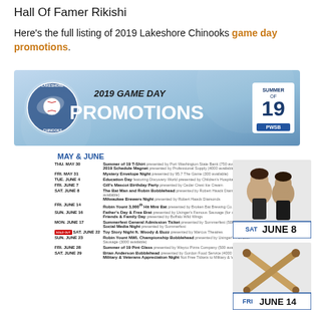Hall Of Famer Rikishi
Here's the full listing of 2019 Lakeshore Chinooks game day promotions.
[Figure (illustration): 2019 Game Day Promotions banner for Lakeshore Chinooks baseball team featuring team logo, text '2019 GAME DAY PROMOTIONS', and Summer of 19 PWSB badge]
MAY & JUNE
| Date | Event |
| --- | --- |
| THU. MAY 30 | Summer of 19 T-Shirt presented by Port Washington State Bank (750 available, 21+)
2019 Schedule Magnet presented by Professional Supply (4000 available) |
| FRI. MAY 31 | Mystery Envelope Night presented by 95.7 The Game (300 available) |
| TUE. JUNE 4 | Education Day featuring Discovery World presented by Children's Hospital of Wisconsin |
| FRI. JUNE 7 | Gill's Mascot Birthday Party presented by Cedar Crest Ice Cream |
| SAT. JUNE 8 | The Bat Man and Robin Bobblehead presented by Robert Haack Diamonds (5000 available)
Milwaukee Brewers Night presented by Robert Haack Diamonds |
| FRI. JUNE 14 | Robin Yount 3,000th Hit Mini Bat presented by Broken Bat Brewing Co. (750 available) |
| SUN. JUNE 16 | Father's Day & Free Brat presented by Usinger's Famous Sausage (for all Dads)
Friends & Family Day presented by Buffalo Wild Wings |
| MON. JUNE 17 | Summerfest General Admission Ticket presented by Summerfest (500 available)
Social Media Night presented by Summerfest |
| SAT. JUNE 22 | Toy Story Night ft. Woody & Buzz presented by Marcus Theatres |
| SUN. JUNE 23 | Robin Yount NWL Championship Bobblehead presented by Usinger's Famous Sausage (3000 available) |
| FRI. JUNE 28 | Summer of 19 Pint Glass presented by Weyco Pizza Company (500 available, 21+) |
| SAT. JUNE 29 | Brian Anderson Bobblehead presented by Gordon Food Service (4000 available)
Military & Veterans Appreciation Night Not Free Tickets to Military & Veterans |
[Figure (photo): Bobblehead figures for SAT JUNE 8 promotion]
[Figure (photo): Crossed mini bats for FRI JUNE 14 promotion]